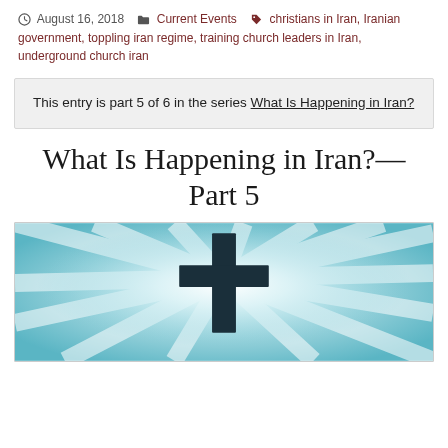August 16, 2018  Current Events  christians in Iran, Iranian government, toppling iran regime, training church leaders in Iran, underground church iran
This entry is part 5 of 6 in the series What Is Happening in Iran?
What Is Happening in Iran?—Part 5
[Figure (photo): A Christian cross silhouette with radiant light beams emanating from behind it against a teal/blue background.]